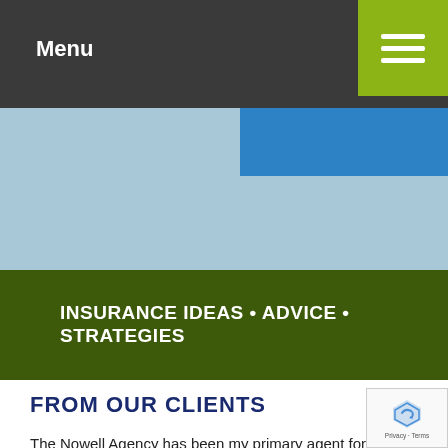Menu
[Figure (screenshot): Navigation bar with 'Menu' text on dark background and green hamburger menu button top-right]
[Figure (illustration): Light blue header banner with blue rectangle overlay on the right side]
INSURANCE IDEAS • ADVICE • STRATEGIES
FROM OUR CLIENTS
The Nowell Agency has been my primary agent for many years and they are attentive, well-staffed, and easy to talk to. Their agency has helped me through state to state moves and career change and kept my...